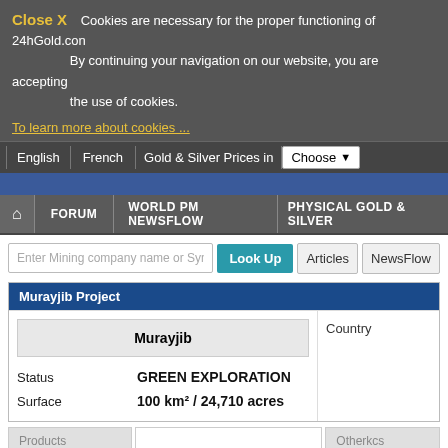Close X  Cookies are necessary for the proper functioning of 24hGold.com. By continuing your navigation on our website, you are accepting the use of cookies.
To learn more about cookies ...
English | French | Gold & Silver Prices in | Choose
FORUM | WORLD PM NEWSFLOW | PHYSICAL GOLD & SILVER
Enter Mining company name or Symbol
Murayjib Project
| Murayjib | Country |
| --- | --- |
| Status | GREEN EXPLORATION |
| Surface | 100 km² / 24,710 acres |
Products | Others
Last updated on 1/7/2010 - Terms of Use
Risk and valuation analysis of the Murayjib Project
| Status Risk : Green exploration | Country Risk : Moderate |
| --- | --- |